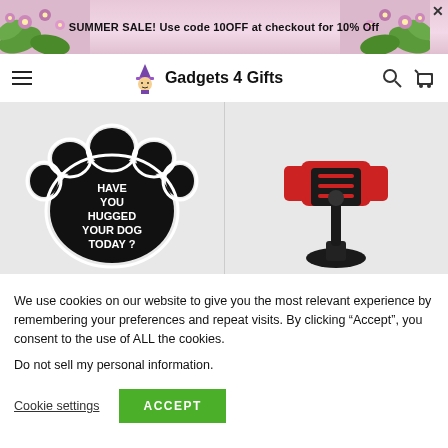SUMMER SALE! Use code 10OFF at checkout for 10% Off
[Figure (screenshot): Gadgets 4 Gifts website navigation bar with hamburger menu, logo with witch icon, site name 'Gadgets 4 Gifts', search icon, and cart icon]
[Figure (photo): Two product images side by side: left shows a black paw print sticker with text 'HAVE YOU HUGGED YOUR DOG TODAY?'; right shows a red and black car phone mount/holder]
We use cookies on our website to give you the most relevant experience by remembering your preferences and repeat visits. By clicking “Accept”, you consent to the use of ALL the cookies.
Do not sell my personal information.
Cookie settings
ACCEPT